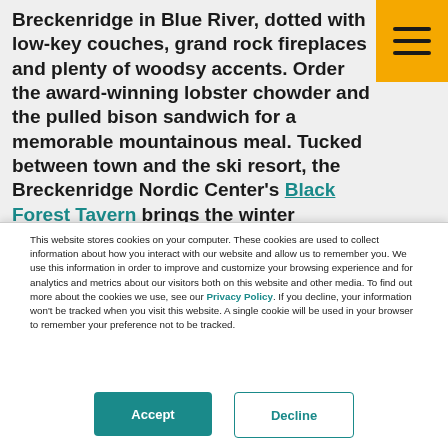Breckenridge in Blue River, dotted with low-key couches, grand rock fireplaces and plenty of woodsy accents. Order the award-winning lobster chowder and the pulled bison sandwich for a memorable mountainous meal. Tucked between town and the ski resort, the Breckenridge Nordic Center's Black Forest Tavern brings the winter ambiance with knotty
This website stores cookies on your computer. These cookies are used to collect information about how you interact with our website and allow us to remember you. We use this information in order to improve and customize your browsing experience and for analytics and metrics about our visitors both on this website and other media. To find out more about the cookies we use, see our Privacy Policy. If you decline, your information won't be tracked when you visit this website. A single cookie will be used in your browser to remember your preference not to be tracked.